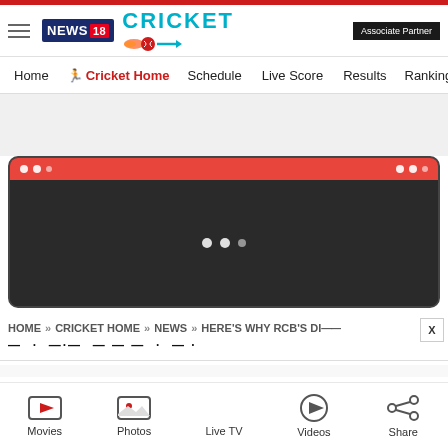Associate Partner
[Figure (logo): News18 Cricket logo with hamburger menu]
Home | Cricket Home | Schedule | Live Score | Results | Ranking
[Figure (screenshot): Gray advertisement area]
[Figure (screenshot): Video player widget with red top bar and loading dots on dark background]
HOME » CRICKET HOME » NEWS » HERE'S WHY RCB'S DI...
— · — · — — — — — — · — — · — ·
Movies | Photos | Live TV | Videos | Share